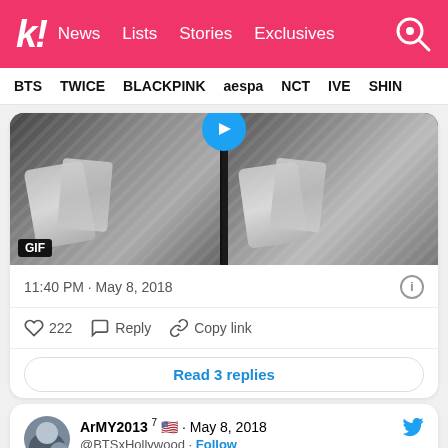k! News Lists Stories Exclusives
BTS TWICE BLACKPINK aespa NCT IVE SHINE
[Figure (photo): GIF thumbnail showing two side-by-side panels of a K-pop artist holding something, with a blue circle at top and GIF badge at bottom left]
11:40 PM · May 8, 2018
222  Reply  Copy link
Read 3 replies
ArMY2013 7 🇺🇸 · May 8, 2018
@BTSxHollywood · Follow
Replying to @abc7george @BTS_twt and